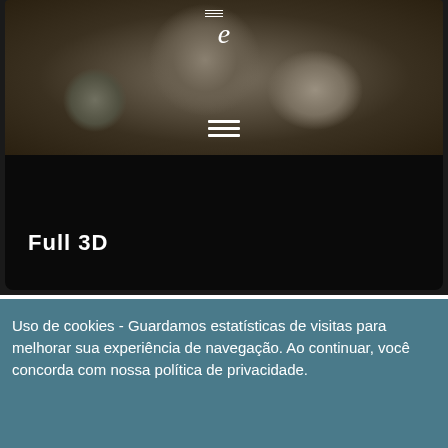[Figure (screenshot): Website screenshot showing a watch/clock gear macro photo with a logo 'e' and hamburger menu icon overlaid, above a black panel with 'Full 3D' text]
Full 3D
Uso de cookies - Guardamos estatísticas de visitas para melhorar sua experiência de navegação. Ao continuar, você concorda com nossa política de privacidade.
Accept